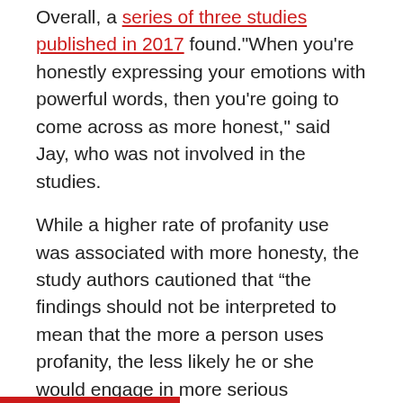Overall, a series of three studies published in 2017 found."When you're honestly expressing your emotions with powerful words, then you're going to come across as more honest," said Jay, who was not involved in the studies.
While a higher rate of profanity use was associated with more honesty, the study authors cautioned that “the findings should not be interpreted to mean that the more a person uses profanity, the less likely he or she would engage in more serious unethical or immoral behaviors.”
3. Profanity improves pain tolerance
Want to push through that workout? Go ahead and drop an F-bomb.People on bikes who swore while pedaling against resistance had more power and strength than people who used “neutral” words, studies have shown.